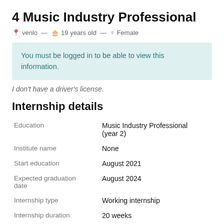4 Music Industry Professional
venlo — 19 years old — Female
You must be logged in to be able to view this information.
I don't have a driver's license.
Internship details
| Field | Value |
| --- | --- |
| Education | Music Industry Professional (year 2) |
| Institute name | None |
| Start education | August 2021 |
| Expected graduation date | August 2024 |
| Internship type | Working internship |
| Internship duration | 20 weeks |